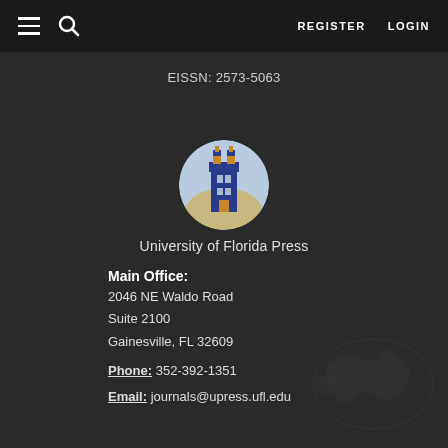REGISTER  LOGIN
EISSN: 2573-5063
[Figure (logo): University of Florida Press circular logo showing a tower (Century Tower) in blue and gold against a light blue background]
University of Florida Press
Main Office:
2046 NE Waldo Road
Suite 2100
Gainesville, FL 32609
Phone: 352-392-1351
Email: journals@upress.ufl.edu